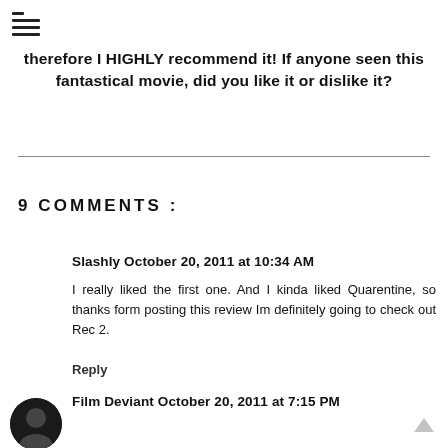menu icon
therefore I HIGHLY recommend it! If anyone seen this fantastical movie, did you like it or dislike it?
9 COMMENTS :
Slashly October 20, 2011 at 10:34 AM
I really liked the first one. And I kinda liked Quarentine, so thanks form posting this review Im definitely going to check out Rec 2.
Reply
Film Deviant October 20, 2011 at 7:15 PM